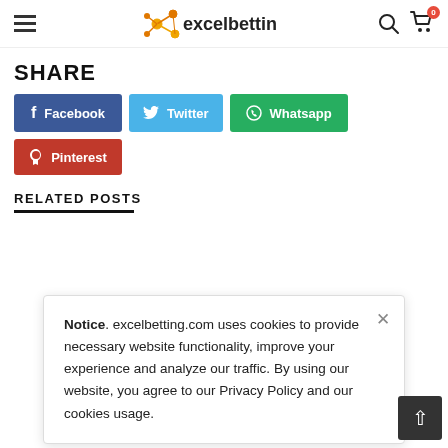excelbetting
SHARE
[Figure (other): Social share buttons: Facebook (blue), Twitter (light blue), Whatsapp (green), Pinterest (red)]
RELATED POSTS
Notice. excelbetting.com uses cookies to provide necessary website functionality, improve your experience and analyze our traffic. By using our website, you agree to our Privacy Policy and our cookies usage.